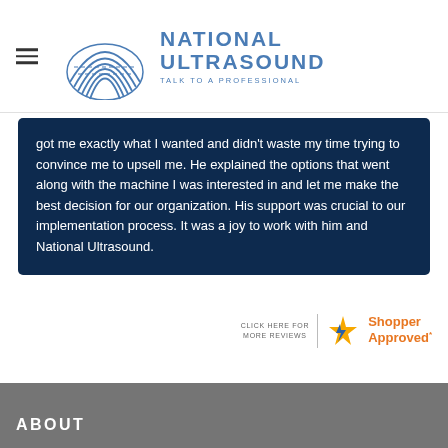[Figure (logo): National Ultrasound logo with concentric wave arcs icon and text 'NATIONAL ULTRASOUND TALK TO A PROFESSIONAL' in blue]
got me exactly what I wanted and didn't waste my time trying to convince me to upsell me. He explained the options that went along with the machine I was interested in and let me make the best decision for our organization. His support was crucial to our implementation process. It was a joy to work with him and National Ultrasound.
[Figure (logo): Shopper Approved badge with star icon and text 'CLICK HERE FOR MORE REVIEWS' next to it]
ABOUT